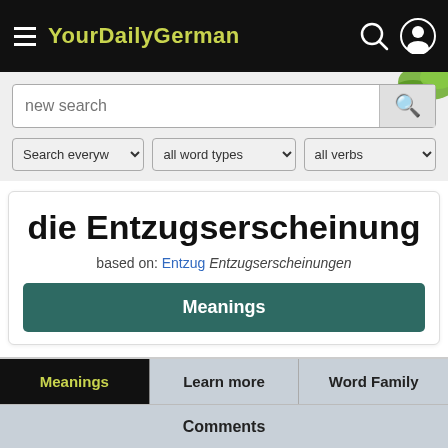YourDailyGerman
new search
Search everywhere | all word types | all verbs
die Entzugserscheinung
based on: Entzug Entzugserscheinungen
Meanings
Meanings | Learn more | Word Family
Comments
Subscribe for free